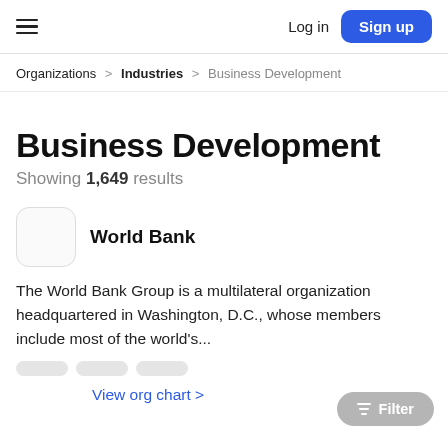Log in  Sign up
Organizations > Industries > Business Development
Business Development
Showing 1,649 results
World Bank
The World Bank Group is a multilateral organization headquartered in Washington, D.C., whose members include most of the world's...
View org chart >